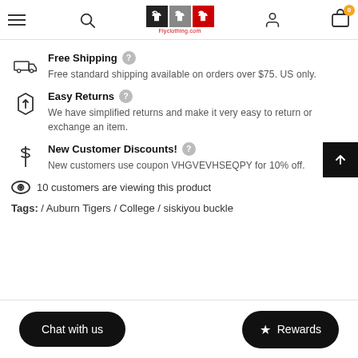Flyclothing.com navigation header with hamburger menu, search, logo, user icon, and cart (0 items)
Free Shipping
Free standard shipping available on orders over $75. US only.
Easy Returns
We have simplified returns and make it very easy to return or exchange an item.
New Customer Discounts!
New customers use coupon VHGVEVHSEQPY for 10% off.
10 customers are viewing this product
Tags: / Auburn Tigers / College / siskiyou buckle